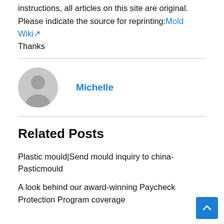instructions, all articles on this site are original. Please indicate the source for reprinting: Mold Wiki↗ Thanks
[Figure (illustration): Gray circular avatar placeholder icon with silhouette of a person]
Michelle
Related Posts
Plastic mould|Send mould inquiry to china-Pasticmould
A look behind our award-winning Paycheck Protection Program coverage